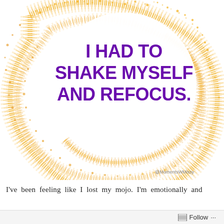[Figure (illustration): Motivational quote graphic with swirling golden/yellow powder or spice dust forming a spiral ring on a white background. Bold purple text in the center reads: 'I HAD TO SHAKE MYSELF AND REFOCUS.' Small text at bottom right reads '@MomentsWMissy'.]
I've been feeling like I lost my mojo. I'm emotionally and